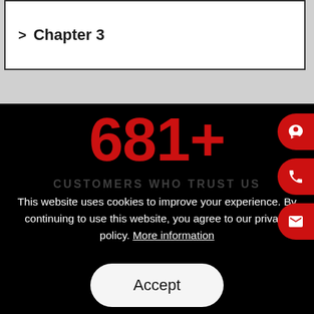> Chapter 3
681+
CUSTOMERS WHO TRUST US
This website uses cookies to improve your experience. By continuing to use this website, you agree to our privacy policy. More information
Accept